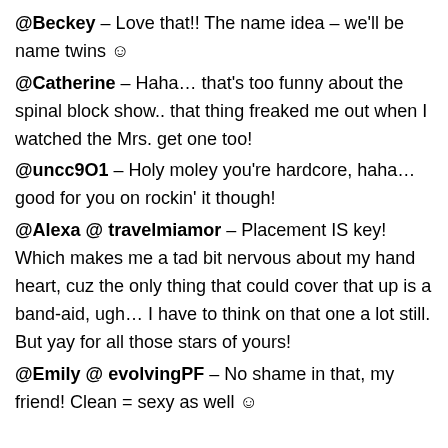@Beckey - Love that!! The name idea – we'll be name twins ☺
@Catherine - Haha… that's too funny about the spinal block show.. that thing freaked me out when I watched the Mrs. get one too!
@uncc9O1 - Holy moley you're hardcore, haha… good for you on rockin' it though!
@Alexa @ travelmiamor - Placement IS key! Which makes me a tad bit nervous about my hand heart, cuz the only thing that could cover that up is a band-aid, ugh… I have to think on that one a lot still. But yay for all those stars of yours!
@Emily @ evolvingPF - No shame in that, my friend! Clean = sexy as well ☺